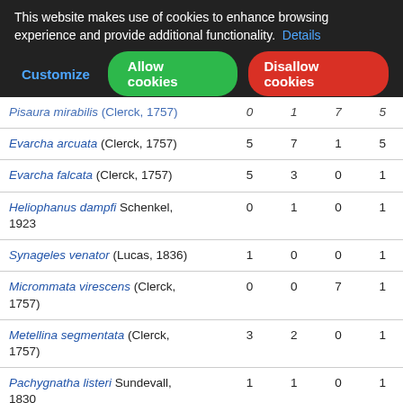This website makes use of cookies to enhance browsing experience and provide additional functionality. Details | Customize | Allow cookies | Disallow cookies
| Species |  |  |  |  |
| --- | --- | --- | --- | --- |
| Pisaura mirabilis (Clerck, 1757) | 0 | 1 | 7 | 5 |
| Evarcha arcuata (Clerck, 1757) | 5 | 7 | 1 | 5 |
| Evarcha falcata (Clerck, 1757) | 5 | 3 | 0 | 1 |
| Heliophanus dampfi Schenkel, 1923 | 0 | 1 | 0 | 1 |
| Synageles venator (Lucas, 1836) | 1 | 0 | 0 | 1 |
| Micrommata virescens (Clerck, 1757) | 0 | 0 | 7 | 1 |
| Metellina segmentata (Clerck, 1757) | 3 | 2 | 0 | 1 |
| Pachygnatha listeri Sundevall, 1830 | 1 | 1 | 0 | 1 |
| Tetragnatha extensa (Linnaeus, 1758) | 0 | 1 | 0 | 1 |
| Tetragnatha montana Simon, 1874 | 1 | 4 | 0 | 1 |